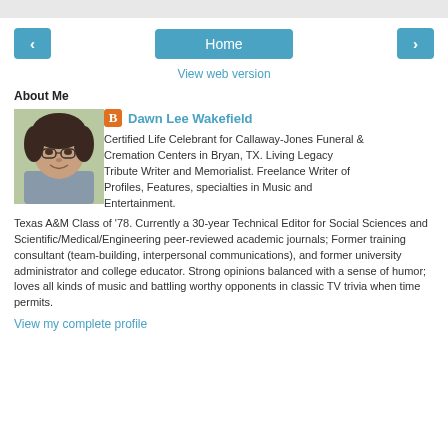Home
View web version
About Me
[Figure (photo): Profile photo of Dawn Lee Wakefield, a woman with dark hair and glasses, smiling outdoors]
Dawn Lee Wakefield
Certified Life Celebrant for Callaway-Jones Funeral & Cremation Centers in Bryan, TX. Living Legacy Tribute Writer and Memorialist. Freelance Writer of Profiles, Features, specialties in Music and Entertainment. Texas A&M Class of '78. Currently a 30-year Technical Editor for Social Sciences and Scientific/Medical/Engineering peer-reviewed academic journals; Former training consultant (team-building, interpersonal communications), and former university administrator and college educator. Strong opinions balanced with a sense of humor; loves all kinds of music and battling worthy opponents in classic TV trivia when time permits.
View my complete profile